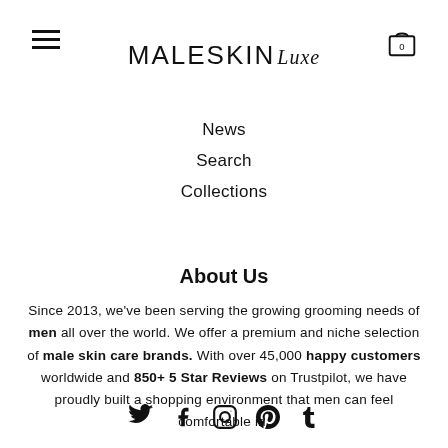MALESKIN Luxe
News
Search
Collections
About Us
Since 2013, we've been serving the growing grooming needs of men all over the world. We offer a premium and niche selection of male skin care brands. With over 45,000 happy customers worldwide and 850+ 5 Star Reviews on Trustpilot, we have proudly built a shopping environment that men can feel comfortable in.
[Figure (other): Social media icons: Twitter, Facebook, Instagram, Pinterest, Tumblr]